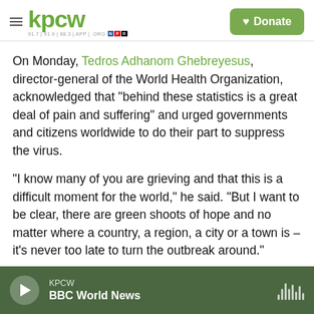KPCW | Donate
On Monday, Tedros Adhanom Ghebreyesus, director-general of the World Health Organization, acknowledged that "behind these statistics is a great deal of pain and suffering" and urged governments and citizens worldwide to do their part to suppress the virus.
"I know many of you are grieving and that this is a difficult moment for the world," he said. "But I want to be clear, there are green shoots of hope and no matter where a country, a region, a city or a town is – it's never too late to turn the outbreak around."
KPCW | BBC World News